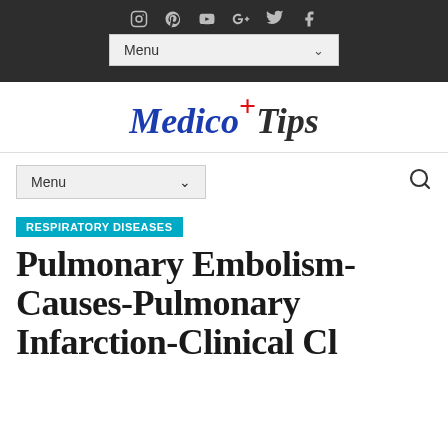Social icons: Instagram, Pinterest, YouTube, Google+, Twitter, Facebook
Menu
[Figure (logo): MedicoTips logo with red plus sign, italic blue 'Medico' and black 'Tips']
Menu (navigation dropdown with search icon)
RESPIRATORY DISEASES
Pulmonary Embolism-Causes-Pulmonary Infarction-Clinical Cl…